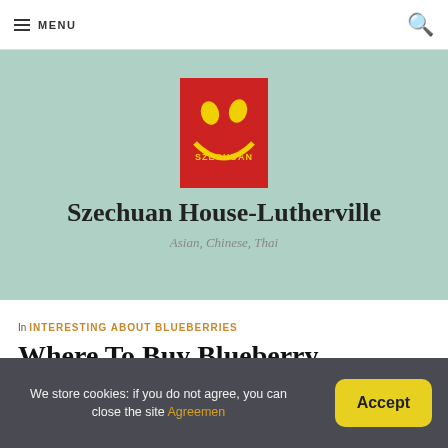MENU
[Figure (logo): Szechuan House restaurant logo: red square background with yellow smiley face made of Chinese characters]
Szechuan House-Lutherville
Asian, Chinese, Thai
In INTERESTING ABOUT BLUEBERRIES
Where To Buy Blueberry Cheesecake?
We store cookies: if you do not agree, you can close the site Agreement